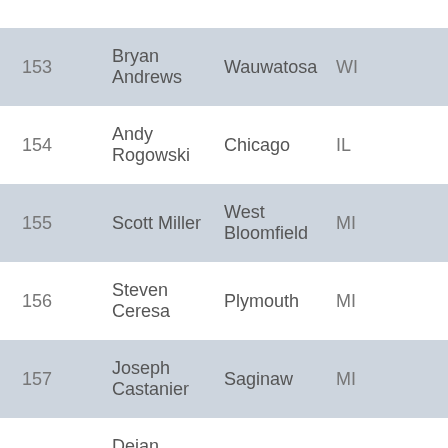| # | Name | City | State |
| --- | --- | --- | --- |
| 153 | Bryan Andrews | Wauwatosa | WI |
| 154 | Andy Rogowski | Chicago | IL |
| 155 | Scott Miller | West Bloomfield | MI |
| 156 | Steven Ceresa | Plymouth | MI |
| 157 | Joseph Castanier | Saginaw | MI |
| 158 | Dejan Nikitovic | Brookfield | WI |
| 159 | Benjamin Levy | Kalamazoo | MI |